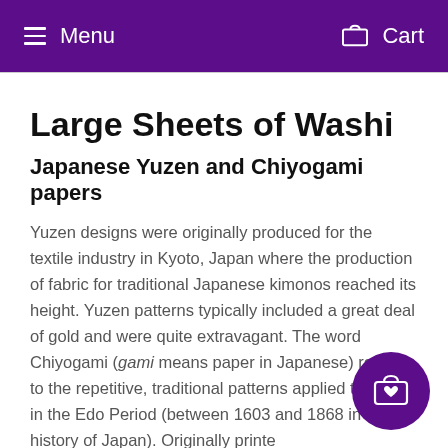Menu  Cart
Large Sheets of Washi
Japanese Yuzen and Chiyogami papers
Yuzen designs were originally produced for the textile industry in Kyoto, Japan where the production of fabric for traditional Japanese kimonos reached its height. Yuzen patterns typically included a great deal of gold and were quite extravagant. The word Chiyogami (gami means paper in Japanese) refers to the repetitive, traditional patterns applied to paper in the Edo Period (between 1603 and 1868 in the history of Japan). Originally printed as woodblock prints onto paper, these patterns migrated to silkscreen application in the 12th century. The terms Yuzen and Chiyogami are now used interchangeably
[Figure (other): Floating action button with shopping bag and heart icon in purple circle]